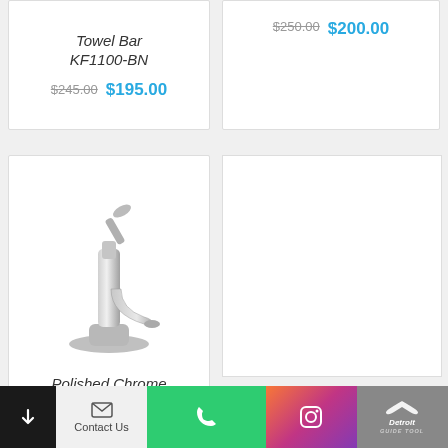Towel Bar KF1100-BN
$245.00  $195.00
$250.00  $200.00
[Figure (photo): Polished Chrome Single Handle Bathroom Faucet product photo]
Polished Chrome Single Handle Bathroom Faucet
Contact Us  [phone]  [instagram]  Detroit Guide Tools